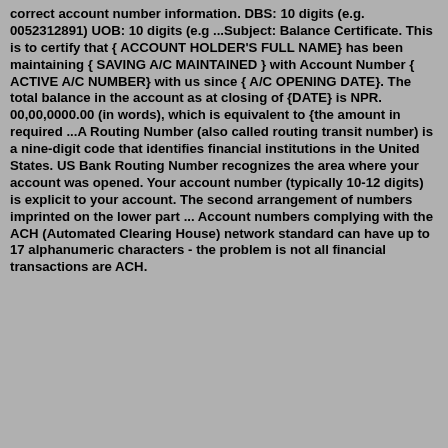correct account number information. DBS: 10 digits (e.g. 0052312891) UOB: 10 digits (e.g ...Subject: Balance Certificate. This is to certify that { ACCOUNT HOLDER'S FULL NAME} has been maintaining { SAVING A/C MAINTAINED } with Account Number { ACTIVE A/C NUMBER} with us since { A/C OPENING DATE}. The total balance in the account as at closing of {DATE} is NPR. 00,00,0000.00 (in words), which is equivalent to {the amount in required ...A Routing Number (also called routing transit number) is a nine-digit code that identifies financial institutions in the United States. US Bank Routing Number recognizes the area where your account was opened. Your account number (typically 10-12 digits) is explicit to your account. The second arrangement of numbers imprinted on the lower part ... Account numbers complying with the ACH (Automated Clearing House) network standard can have up to 17 alphanumeric characters - the problem is not all financial transactions are ACH.